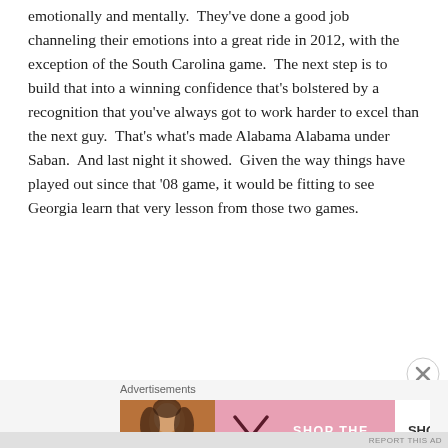emotionally and mentally. They've done a good job channeling their emotions into a great ride in 2012, with the exception of the South Carolina game. The next step is to build that into a winning confidence that's bolstered by a recognition that you've always got to work harder to excel than the next guy. That's what's made Alabama Alabama under Saban. And last night it showed. Given the way things have played out since that '08 game, it would be fitting to see Georgia learn that very lesson from those two games.
December 2, 2012
[Figure (other): Victoria's Secret advertisement banner with model photo, VS logo, 'SHOP THE COLLECTION' text, and 'SHOP NOW' button]